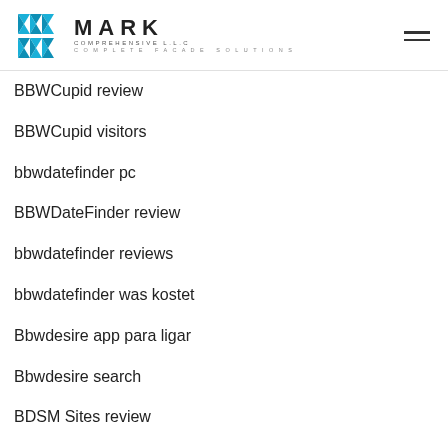[Figure (logo): Mark Comprehensive LLC logo with geometric blue icon and text 'MARK COMPREHENSIVE L.L.C COMPLETE FACADE SOLUTIONS']
BBWCupid review
BBWCupid visitors
bbwdatefinder pc
BBWDateFinder review
bbwdatefinder reviews
bbwdatefinder was kostet
Bbwdesire app para ligar
Bbwdesire search
BDSM Sites review
BDSM visitors